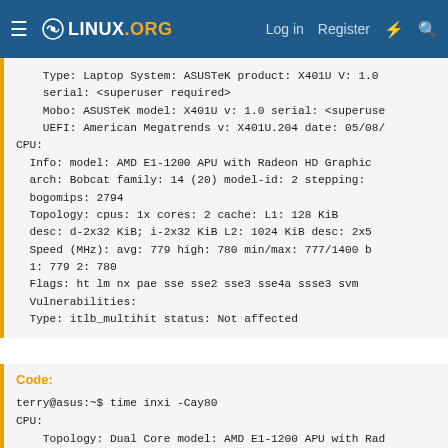LINUX.ORG  Log in  Register
Type: Laptop System: ASUSTeK product: X401U V: 1.0
    serial: <superuser required>
    Mobo: ASUSTeK model: X401U v: 1.0 serial: <superuse
    UEFI: American Megatrends v: X401U.204 date: 05/08/
CPU:
  Info: model: AMD E1-1200 APU with Radeon HD Graphic
  arch: Bobcat family: 14 (20) model-id: 2 stepping:
  bogomips: 2794
  Topology: cpus: 1x cores: 2 cache: L1: 128 KiB
  desc: d-2x32 KiB; i-2x32 KiB L2: 1024 KiB desc: 2x5
  Speed (MHz): avg: 779 high: 780 min/max: 777/1400 b
  1: 779 2: 780
  Flags: ht lm nx pae sse sse2 sse3 sse4a ssse3 svm
  Vulnerabilities:
  Type: itlb_multihit status: Not affected
Code:
terry@asus:~$ time inxi -Cay80
CPU:
    Topology: Dual Core model: AMD E1-1200 APU with Rad